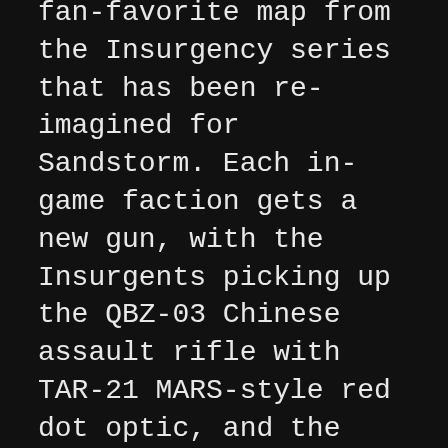The highlights from Update 10 are the new guns and a fan-favorite map from the Insurgency series that has been re-imagined for Sandstorm. Each in-game faction gets a new gun, with the Insurgents picking up the QBZ-03 Chinese assault rifle with TAR-21 MARS-style red dot optic, and the Security Forces gaining access to the VHS-2 Croatian assault rifle with MRO “Micro Red Dot” optic.
The new map, Ministry, is a returning favorite from Insurgency 2014 that has been given a fresh coat of paint and optimized for Sandstorm. Lead environment artist Vuk Banovic explains the importance of its dignified appearance and wealth of interactive objects:
Ministry is a more modern looking map with overall much less wear and tear than our other maps. It has a particular mood that is in one way cozy and beautiful